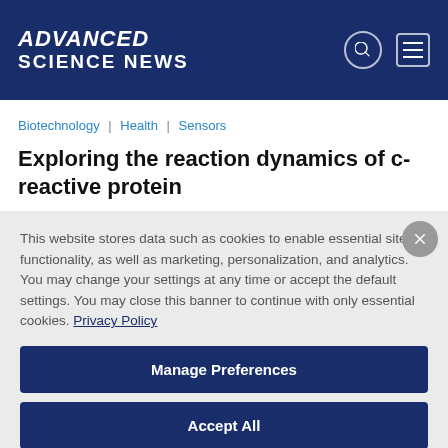ADVANCED SCIENCE NEWS
Biotechnology | Health | Sensors
Exploring the reaction dynamics of c-reactive protein
This website stores data such as cookies to enable essential site functionality, as well as marketing, personalization, and analytics. You may change your settings at any time or accept the default settings. You may close this banner to continue with only essential cookies. Privacy Policy
Manage Preferences
Accept All
Reject All